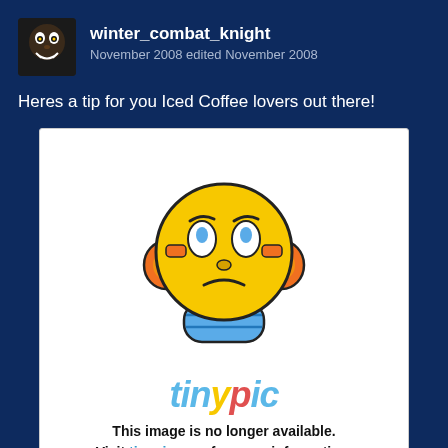winter_combat_knight
November 2008 edited November 2008
Heres a tip for you Iced Coffee lovers out there!
[Figure (illustration): Tinypic broken image placeholder showing a sad yellow emoji mascot with orange headphones and blue feet body, with the stylized 'tinypic' logo below and text: 'This image is no longer available. Visit tinypic.com for more information.']